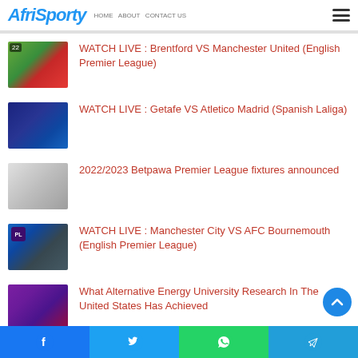AfriSporty
WATCH LIVE : Brentford VS Manchester United (English Premier League)
WATCH LIVE : Getafe VS Atletico Madrid (Spanish Laliga)
2022/2023 Betpawa Premier League fixtures announced
WATCH LIVE : Manchester City VS AFC Bournemouth (English Premier League)
What Alternative Energy University Research In The United States Has Achieved
WhatsApp
Facebook | Twitter | WhatsApp | Telegram